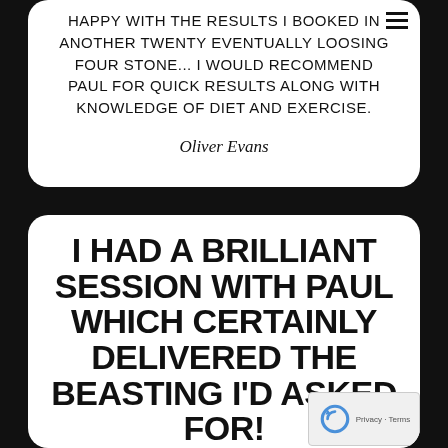HAPPY WITH THE RESULTS I BOOKED IN ANOTHER TWENTY EVENTUALLY LOOSING FOUR STONE... I WOULD RECOMMEND PAUL FOR QUICK RESULTS ALONG WITH KNOWLEDGE OF DIET AND EXERCISE.
Oliver Evans
I HAD A BRILLIANT SESSION WITH PAUL WHICH CERTAINLY DELIVERED THE BEASTING I'D ASKED FOR!
NOT ONLY WAS THE HOUR VARIED, INTERESTING AND PAINFUL (MY CHOICE!) IT WAS HUGELY ENJOYABLE TOO. I ALWAYS PUSH MYSELF AS HARD AS I CAN WHEN I TRAIN ON MY OWN, SO I CAN BE